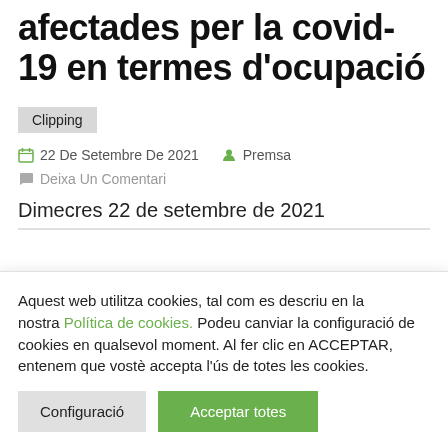afectades per la covid-19 en termes d'ocupació
Clipping
22 De Setembre De 2021   Premsa
Deixa Un Comentari
Dimecres 22 de setembre de 2021
Aquest web utilitza cookies, tal com es descriu en la nostra Política de cookies. Podeu canviar la configuració de cookies en qualsevol moment. Al fer clic en ACCEPTAR, entenem que vostè accepta l'ús de totes les cookies.
Configuració
Acceptar totes